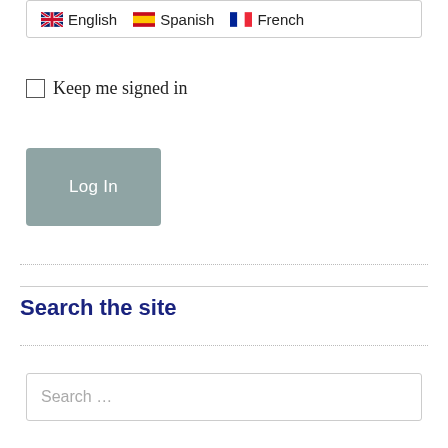[Figure (screenshot): Language selector dropdown showing English (UK flag), Spanish (Spain flag), and French (French flag) options]
Keep me signed in
[Figure (screenshot): Log In button, grey-blue color]
Search the site
Search ...